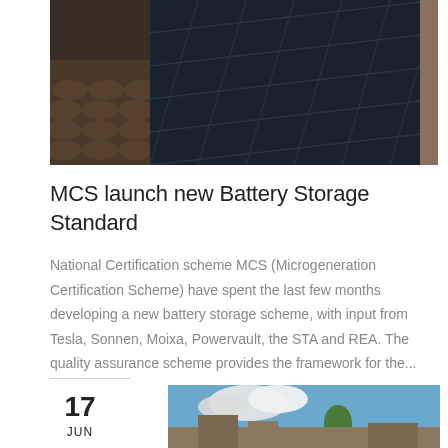[Figure (photo): Solar panels installed on a tiled roof, viewed from an angle showing the dark blue/black panel surface against terracotta roof tiles.]
MCS launch new Battery Storage Standard
National Certification scheme MCS (Microgeneration Certification Scheme) have spent the last few months developing a new battery storage scheme, with input from Tesla, Sonnen, Moixa, Powervault, the STA and REA. The quality assurance scheme provides the framework for the...
[Figure (photo): Rooftop with solar panels against a blue sky with white clouds and a tree visible.]
17
JUN